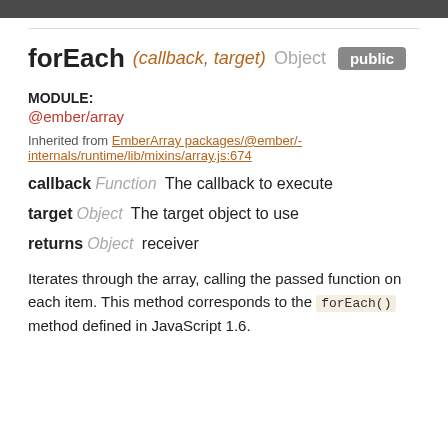forEach (callback, target) Object public
MODULE:
@ember/array
Inherited from EmberArray packages/@ember/-internals/runtime/lib/mixins/array.js:674
callback Function  The callback to execute
target Object  The target object to use
returns Object  receiver
Iterates through the array, calling the passed function on each item. This method corresponds to the forEach() method defined in JavaScript 1.6.